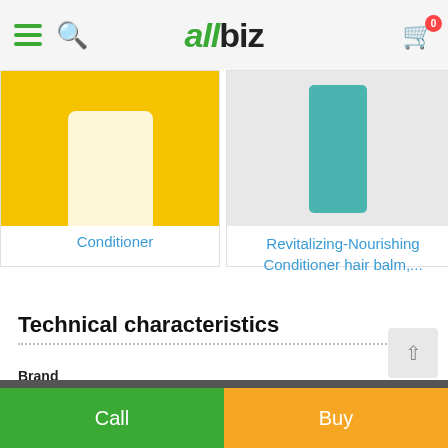allbiz
[Figure (photo): Conditioner product on yellow background]
Conditioner
[Figure (photo): Revitalizing-Nourishing Conditioner hair balm teal bottle on gray background]
Revitalizing-Nourishing Conditioner hair balm,...
Technical characteristics
| Property | Value |
| --- | --- |
| Brand | Kapous Professional |
| Country of manufacture | Italy |
Call | Buy